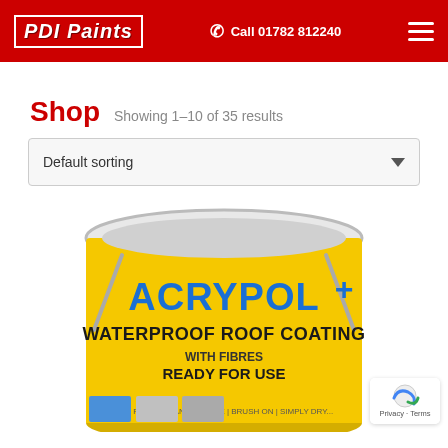PDI Paints | Call 01782 812240
Shop
Showing 1–10 of 35 results
Default sorting
[Figure (photo): Yellow paint tin labelled ACRYPOL + Waterproof Roof Coating with fibres, ready for use. Yellow and blue label showing application instructions.]